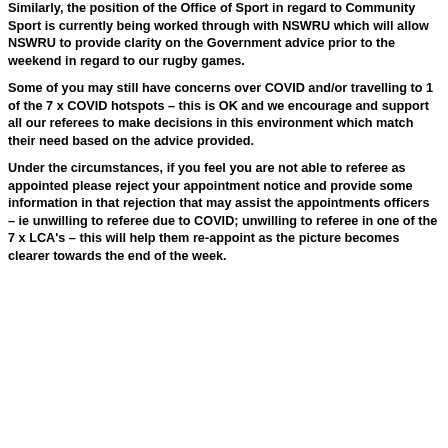Similarly, the position of the Office of Sport in regard to Community Sport is currently being worked through with NSWRU which will allow NSWRU to provide clarity on the Government advice prior to the weekend in regard to our rugby games.
Some of you may still have concerns over COVID and/or travelling to 1 of the 7 x COVID hotspots – this is OK and we encourage and support all our referees to make decisions in this environment which match their need based on the advice provided.
Under the circumstances, if you feel you are not able to referee as appointed please reject your appointment notice and provide some information in that rejection that may assist the appointments officers – ie unwilling to referee due to COVID; unwilling to referee in one of the 7 x LCA's – this will help them re-appoint as the picture becomes clearer towards the end of the week.